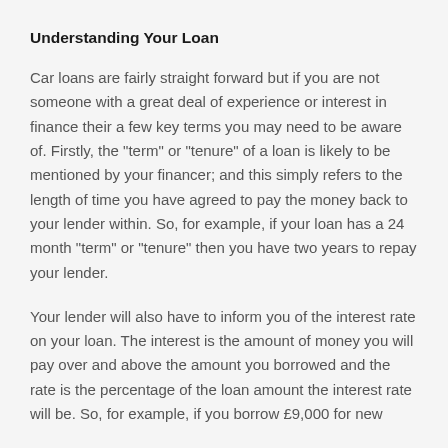Understanding Your Loan
Car loans are fairly straight forward but if you are not someone with a great deal of experience or interest in finance their a few key terms you may need to be aware of. Firstly, the "term" or "tenure" of a loan is likely to be mentioned by your financer; and this simply refers to the length of time you have agreed to pay the money back to your lender within. So, for example, if your loan has a 24 month "term" or "tenure" then you have two years to repay your lender.
Your lender will also have to inform you of the interest rate on your loan. The interest is the amount of money you will pay over and above the amount you borrowed and the rate is the percentage of the loan amount the interest rate will be. So, for example, if you borrow £9,000 for new